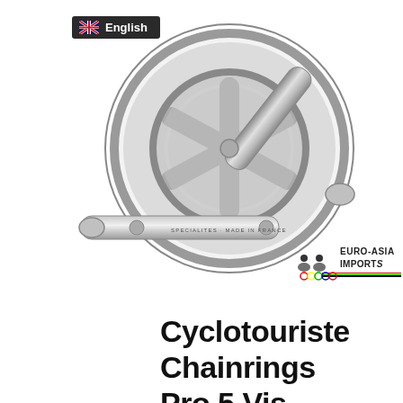[Figure (photo): Cyclotouriste crankset with double chainrings and crank arms, silver/chrome finish, shown disassembled]
[Figure (logo): Euro-Asia Imports logo with cyclist silhouettes and rainbow stripe, text EURO-ASIA IMPORTS]
English
Cyclotouriste Chainrings Pro 5 Vis Del